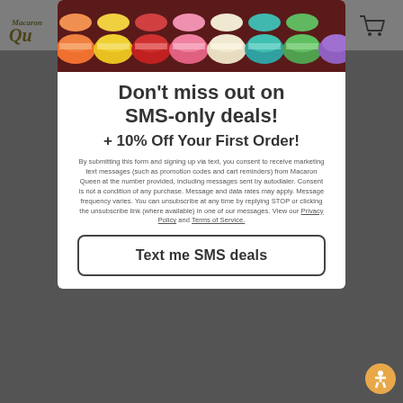[Figure (screenshot): Website background showing Macaron Queen logo, navigation icons, and dimmed page content]
[Figure (photo): Colorful French macarons arranged in rows, top of modal popup]
Don't miss out on SMS-only deals!
+ 10% Off Your First Order!
By submitting this form and signing up via text, you consent to receive marketing text messages (such as promotion codes and cart reminders) from Macaron Queen at the number provided, including messages sent by autodialer. Consent is not a condition of any purchase. Message and data rates may apply. Message frequency varies. You can unsubscribe at any time by replying STOP or clicking the unsubscribe link (where available) in one of our messages. View our Privacy Policy and Terms of Service.
Text me SMS deals